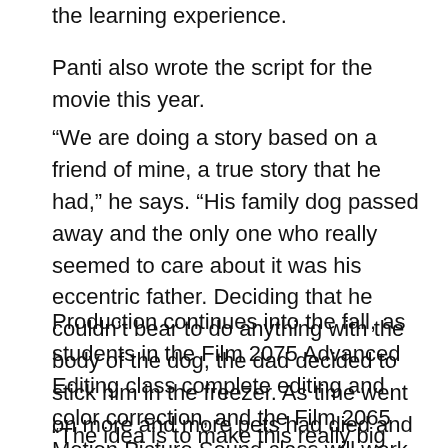the learning experience.
Panti also wrote the script for the movie this year.
“We are doing a story based on a friend of mine, a true story that he had,” he says. “His family dog passed away and the only one who really seemed to care about it was his eccentric father. Deciding that he couldn’t bear to do anything with the body of the dog, the dad decided to stick him in the freezer. As time went on more and more pets had died and accrued in the freezer.”
Production continues into the fall, as students in the Film 2075 Advanced Editing class complete editing and color correction, and the Film 2065 Motion Picture Sound class will work on sound mixing.
“The idea is to make this really big project [a] really nice